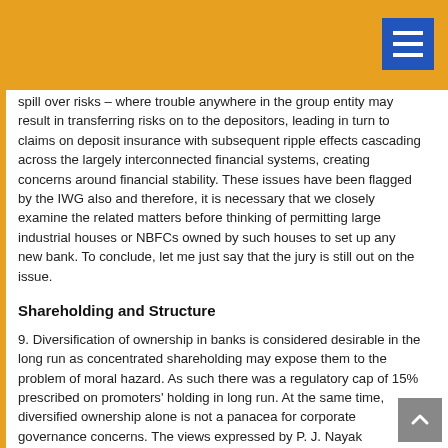spill over risks – where trouble anywhere in the group entity may result in transferring risks on to the depositors, leading in turn to claims on deposit insurance with subsequent ripple effects cascading across the largely interconnected financial systems, creating concerns around financial stability. These issues have been flagged by the IWG also and therefore, it is necessary that we closely examine the related matters before thinking of permitting large industrial houses or NBFCs owned by such houses to set up any new bank. To conclude, let me just say that the jury is still out on the issue.
Shareholding and Structure
9. Diversification of ownership in banks is considered desirable in the long run as concentrated shareholding may expose them to the problem of moral hazard. As such there was a regulatory cap of 15% prescribed on promoters' holding in long run. At the same time, diversified ownership alone is not a panacea for corporate governance concerns. The views expressed by P. J. Nayak Committee (Committee to Review Governance of Boards of Bank in India) in 2014 was that if the maximum shareholding of promoters is set at (x) in a new bank and...